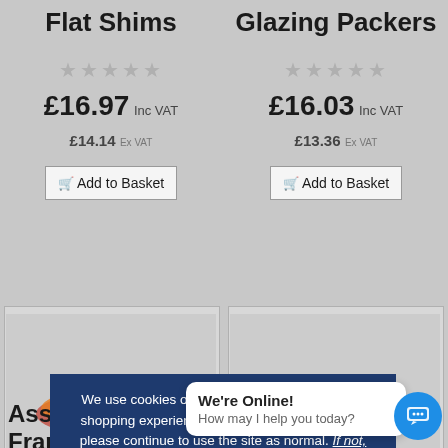Flat Shims
Glazing Packers
£16.97 Inc VAT
£14.14 Ex VAT
£16.03 Inc VAT
£13.36 Ex VAT
Add to Basket
Add to Basket
We use cookies on our website to improve your shopping experience. If you are happy with this, please continue to use the site as normal. If not, you can find out about our cookie policy here.
OKAY
[Figure (photo): Colorful assorted plastic packers/shims product image on left]
[Figure (photo): Colorful assorted plastic packers/shims product image on right]
Assorted Frame Packers
U Packers
We're Online! How may I help you today?